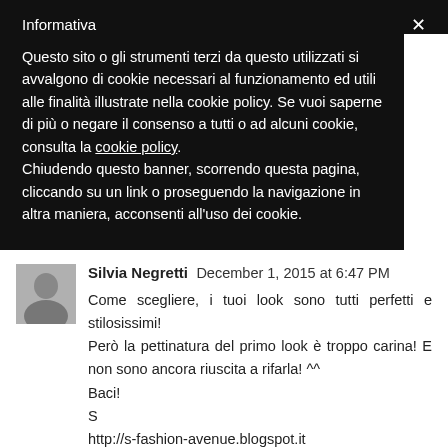Informativa
Questo sito o gli strumenti terzi da questo utilizzati si avvalgono di cookie necessari al funzionamento ed utili alle finalità illustrate nella cookie policy. Se vuoi saperne di più o negare il consenso a tutti o ad alcuni cookie, consulta la cookie policy. Chiudendo questo banner, scorrendo questa pagina, cliccando su un link o proseguendo la navigazione in altra maniera, acconsenti all'uso dei cookie.
Silvia Negretti  December 1, 2015 at 6:47 PM
Come scegliere, i tuoi look sono tutti perfetti e stilosissimi! Però la pettinatura del primo look è troppo carina! E non sono ancora riuscita a rifarla! ^^
Baci!
S
http://s-fashion-avenue.blogspot.it
Reply